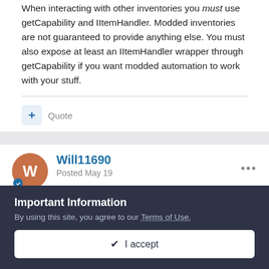When interacting with other inventories you must use getCapability and IItemHandler. Modded inventories are not guaranteed to provide anything else. You must also expose at least an IItemHandler wrapper through getCapability if you want modded automation to work with your stuff.
[Figure (other): Quote button with plus icon and label]
Will11690
Posted May 19
On 5/15/2022 at 8:02 AM, diesieben07 said:
Important Information
By using this site, you agree to our Terms of Use.
✔ I accept